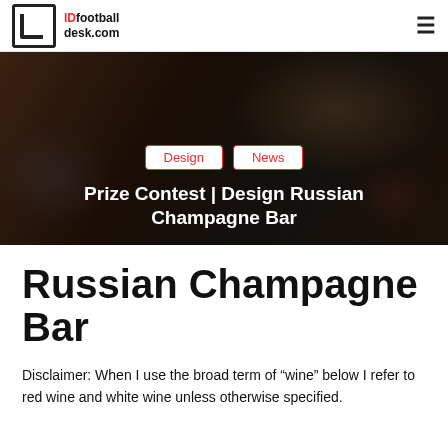IDfootballdesk.com
[Figure (photo): Soccer/football action hero image with dark overlay showing players in action. Tags: Design, News. Title: Prize Contest | Design Russian Champagne Bar]
Russian Champagne Bar
Disclaimer: When I use the broad term of “wine” below I refer to red wine and white wine unless otherwise specified.